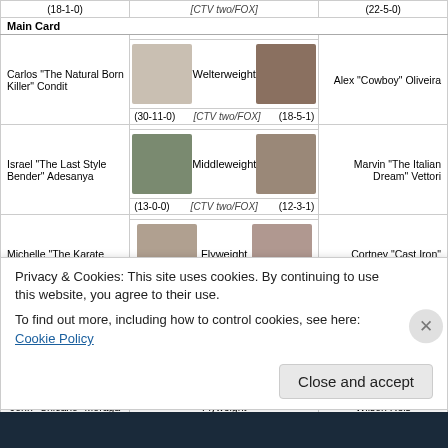| Fighter (left) | Weight Class / TV | Fighter (right) |
| --- | --- | --- |
| (18-1-0) | [CTV two/FOX] | (22-5-0) |
| MAIN CARD |  |  |
| Carlos "The Natural Born Killer" Condit
(30-11-0) | Welterweight
[CTV two/FOX] | Alex "Cowboy" Oliveira
(18-5-1) |
| Israel "The Last Style Bender" Adesanya
(13-0-0) | Middleweight
[CTV two/FOX] | Marvin "The Italian Dream" Vettori
(12-3-1) |
| Michelle "The Karate Hottie" Waterson
(14-6-0) | Flyweight
[CTV two/FOX] | Cortney "Cast Iron" Casey
(7-5-0) |
| PRELIMINARY CARD |  |  |
| António Carlos "Cara de Sapato" Júnior
(9-2-0) | Middleweight
[TSN/FOX] | Tim "The Barbarian" Boetsch
(21-11-0) |
| Muslim "King of Kung Fu" Salikhov
(13-2-0) | Welterweight
[TSN/FOX] | "The Sniper" Ricky Rainey
(13-4-0) |
| John "Chicano" Moraga
(18-6-0) | Flyweight
[TSN/FOX] | Wilson Reis
(22-8-0) |
Privacy & Cookies: This site uses cookies. By continuing to use this website, you agree to their use.
To find out more, including how to control cookies, see here: Cookie Policy